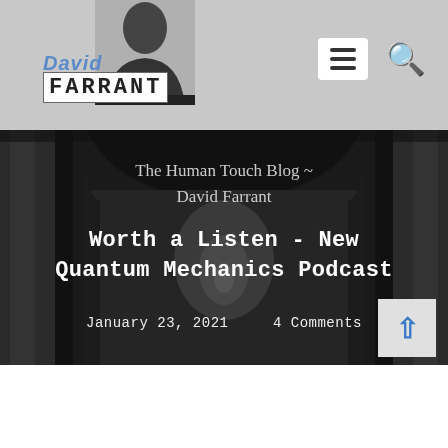David Farrant
The Human Touch Blog ~ David Farrant
Worth a Listen - New Quantum Mechanics Podcast
January 23, 2021    4 Comments
[Figure (screenshot): Screenshot of David Farrant blog website showing header with logo, nav icons (hamburger menu and search), hero image of dark archway corridor, blog title and post heading overlay]